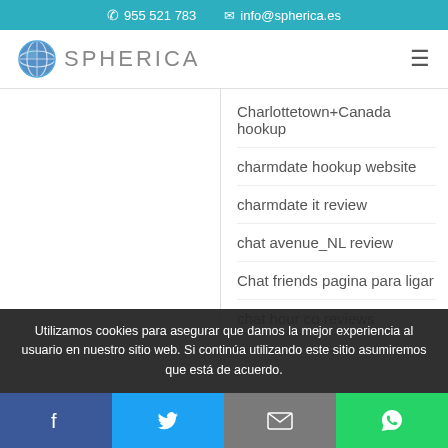✆ 955 521 783  ✉ info@spherica.es
[Figure (logo): Spherica globe logo with text SPHERICA and hamburger menu icon]
Charlottetown+Canada hookup
charmdate hookup website
charmdate it review
chat avenue_NL review
Chat friends pagina para ligar
chat hour co reviews
Utilizamos cookies para asegurar que damos la mejor experiencia al usuario en nuestro sitio web. Si continúa utilizando este sitio asumiremos que está de acuerdo.
Facebook | Twitter | Email | WhatsApp